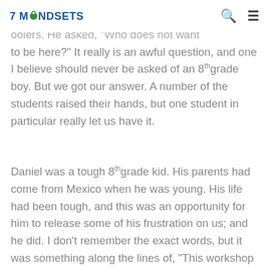7 MINDSETS
ask the worst question possible for a group of schoolers. He asked, "Who does not want to be here?" It really is an awful question, and one I believe should never be asked of an 8th grade boy. But we got our answer. A number of the students raised their hands, but one student in particular really let us have it.
Daniel was a tough 8th grade kid. His parents had come from Mexico when he was young. His life had been tough, and this was an opportunity for him to release some of his frustration on us; and he did. I don't remember the exact words, but it was something along the lines of, "This workshop is a joke and you guys are a joke. The only reason I am here is because my mom made me come to school today and my teacher made me come to this